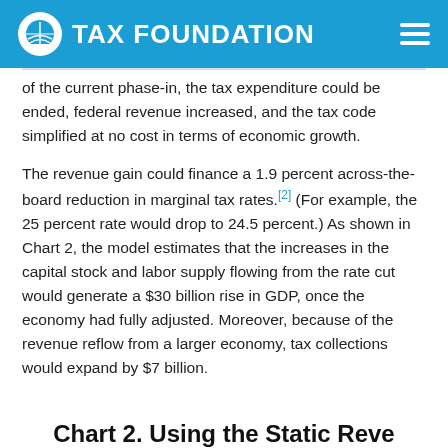TAX FOUNDATION
of the current phase-in, the tax expenditure could be ended, federal revenue increased, and the tax code simplified at no cost in terms of economic growth.
The revenue gain could finance a 1.9 percent across-the-board reduction in marginal tax rates.[2] (For example, the 25 percent rate would drop to 24.5 percent.) As shown in Chart 2, the model estimates that the increases in the capital stock and labor supply flowing from the rate cut would generate a $30 billion rise in GDP, once the economy had fully adjusted. Moreover, because of the revenue reflow from a larger economy, tax collections would expand by $7 billion.
Chart 2. Using the Static Reve